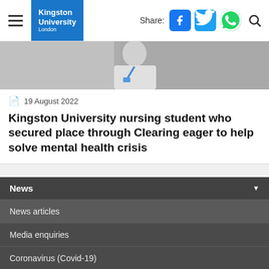Kingston University London | Share: Facebook, Twitter, WhatsApp, Search
[Figure (photo): Background photo showing a person in a white uniform with a blue lanyard badge, nursing/healthcare setting]
19 August 2022
Kingston University nursing student who secured place through Clearing eager to help solve mental health crisis
News
News articles
Media enquiries
Coronavirus (Covid-19)
Meeting the Covid-19 challenge
Site menu